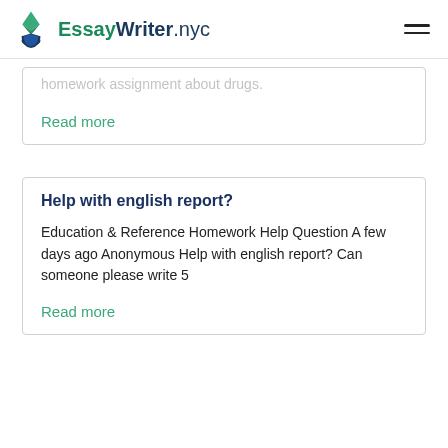EssayWriter.nyc
homework assignment about drugs.
Read more
Help with english report?
Education & Reference Homework Help Question A few days ago Anonymous Help with english report? Can someone please write 5
Read more